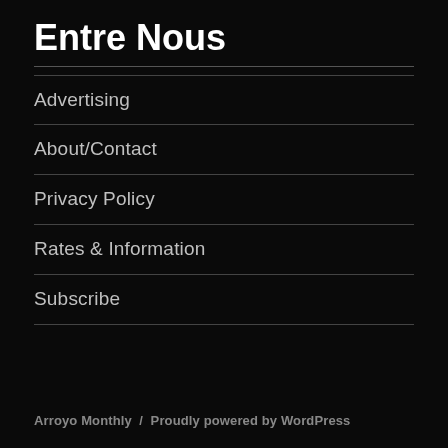Entre Nous
Advertising
About/Contact
Privacy Policy
Rates & Information
Subscribe
Arroyo Monthly / Proudly powered by WordPress